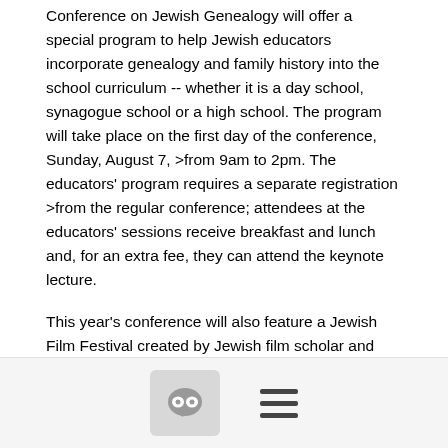Conference on Jewish Genealogy will offer a special program to help Jewish educators incorporate genealogy and family history into the school curriculum -- whether it is a day school, synagogue school or a high school. The program will take place on the first day of the conference, Sunday, August 7, >from 9am to 2pm. The educators' program requires a separate registration >from the regular conference; attendees at the educators' sessions receive breakfast and lunch and, for an extra fee, they can attend the keynote lecture.
This year's conference will also feature a Jewish Film Festival created by Jewish film scholar and teacher of cinema Eric Goldman. Other highlights of the Seattle conference include the opening night .
[Figure (other): Footer bar with a chat bubble icon button and a hamburger menu icon]